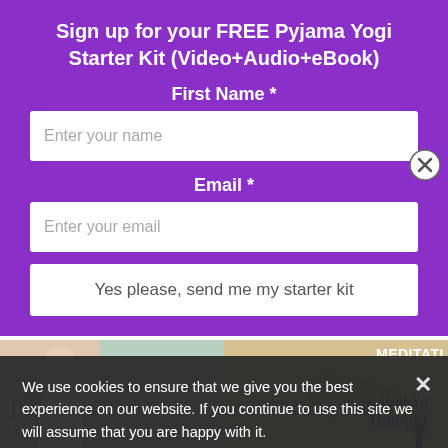Sign up for your FREE Pyjama Yogi Starter Kit (Video+Audio+eBook)
First Name *
Enter your name
Email *
Enter your email
Yes please, send me my starter kit
[Figure (photo): Two thumbnail images: left shows a person in white clothing with text 'Heartfelt Thank You', right shows meditation balls with text 'MEDITATION Label Your Thoughts']
We use cookies to ensure that we give you the best experience on our website. If you continue to use this site we will assume that you are happy with it.
Meditation – Heartfelt Thank You
Meditation – Label Your Thoughts